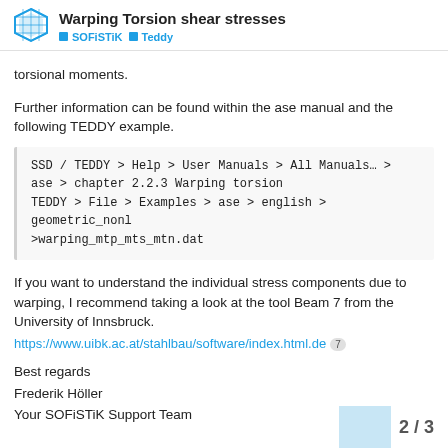Warping Torsion shear stresses | SOFiSTiK | Teddy
torsional moments.
Further information can be found within the ase manual and the following TEDDY example.
SSD / TEDDY > Help > User Manuals > All Manuals… > ase > chapter 2.2.3 Warping torsion
TEDDY > File > Examples > ase > english > geometric_nonl >warping_mtp_mts_mtn.dat
If you want to understand the individual stress components due to warping, I recommend taking a look at the tool Beam 7 from the University of Innsbruck.
https://www.uibk.ac.at/stahlbau/software/index.html.de
Best regards
Frederik Höller
Your SOFiSTiK Support Team
2 / 3